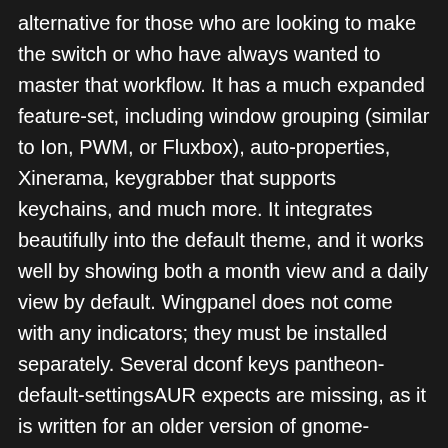alternative for those who are looking to make the switch or who have always wanted to master that workflow. It has a much expanded feature-set, including window grouping (similar to Ion, PWM, or Fluxbox), auto-properties, Xinerama, keygrabber that supports keychains, and much more. It integrates beautifully into the default theme, and it works well by showing both a month view and a daily view by default. Wingpanel does not come with any indicators; they must be installed separately. Several dconf keys pantheon-default-settingsAUR expects are missing, as it is written for an older version of gnome-settings-daemon. Itâ€™s beautiful and provides you with all the options or choices you could want in a basic text editor. This can be done in dconf-editor and should look like You've decided to leave a comment.↑he obvious choice for Pantheon is elementaryOS. Halfway through the installation, Apt will stop to ask you your display manager choice. To enable context menu entries, such as for